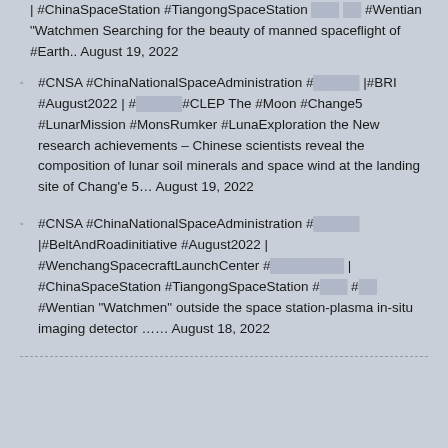| #ChinaSpaceStation #TiangongSpaceStation #[chinese] #[chinese] #Wentian "Watchmen Searching for the beauty of manned spaceflight of #Earth.. August 19, 2022
#CNSA #ChinaNationalSpaceAdministration #[chinese] |#BRI #August2022 | #[chinese]#CLEP The #Moon #Change5 #LunarMission #MonsRumker #LunaExploration the New research achievements – Chinese scientists reveal the composition of lunar soil minerals and space wind at the landing site of Chang'e 5… August 19, 2022
#CNSA #ChinaNationalSpaceAdministration #[chinese] |#BeltAndRoadinitiative #August2022 | #WenchangSpacecraftLaunchCenter #[chinese] | #ChinaSpaceStation #TiangongSpaceStation #[chinese] #[chinese] #Wentian "Watchmen" outside the space station-plasma in-situ imaging detector …… August 18, 2022